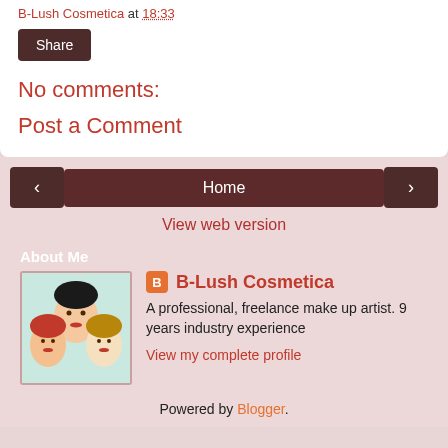B-Lush Cosmetica at 18:33
Share
No comments:
Post a Comment
< Home >
View web version
About Me
[Figure (illustration): Profile illustration showing three stylized female faces with different hair colors]
B-Lush Cosmetica
A professional, freelance make up artist. 9 years industry experience
View my complete profile
Powered by Blogger.